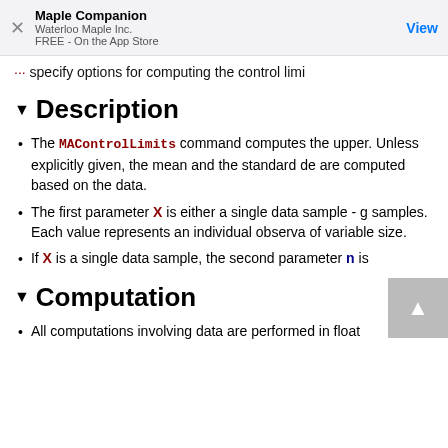Maple Companion
Waterloo Maple Inc.
FREE - On the App Store | View
specify options for computing the control limi
Description
The MAControlLimits command computes the upper. Unless explicitly given, the mean and the standard de are computed based on the data.
The first parameter X is either a single data sample - g samples. Each value represents an individual observa of variable size.
If X is a single data sample, the second parameter n is
Computation
All computations involving data are performed in float